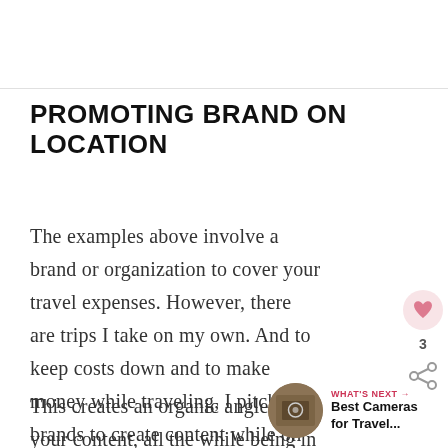PROMOTING BRAND ON LOCATION
The examples above involve a brand or organization to cover your travel expenses. However, there are trips I take on my own. And to keep costs down and to make money while traveling, I pitch brands to create content while on location.
This creates an organic angle to your content, all the while being in
[Figure (other): Sidebar UI widget showing a heart/like icon with count of 3 and a share icon]
[Figure (other): What's Next widget with circular thumbnail image and text: Best Cameras for Travel...]